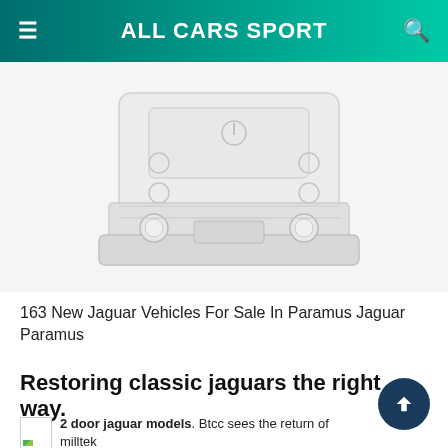ALL CARS SPORT
[Figure (illustration): Partial front/top view of a white Jaguar vehicle illustration, showing hood, headlights, and roof details in a light gray line-art style on white background]
163 New Jaguar Vehicles For Sale In Paramus Jaguar Paramus
Restoring classic jaguars the right way.
2 door jaguar models. Btcc sees the return of milltek